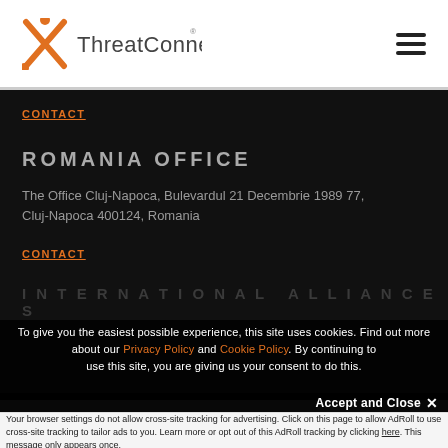[Figure (logo): ThreatConnect logo with orange X mark and gray text]
CONTACT
ROMANIA OFFICE
The Office Cluj-Napoca, Bulevardul 21 Decembrie 1989 77, Cluj-Napoca 400124, Romania
CONTACT
To give you the easiest possible experience, this site uses cookies. Find out more about our Privacy Policy and Cookie Policy. By continuing to use this site, you are giving us your consent to do this.
Accept and Close ×
Your browser settings do not allow cross-site tracking for advertising. Click on this page to allow AdRoll to use cross-site tracking to tailor ads to you. Learn more or opt out of this AdRoll tracking by clicking here. This message only appears once.